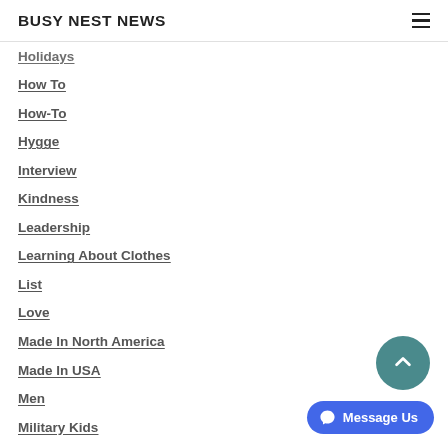BUSY NEST NEWS
Holidays
How To
How-To
Hygge
Interview
Kindness
Leadership
Learning About Clothes
List
Love
Made In North America
Made In USA
Men
Military Kids
Military Life
Monkeys
Mothers